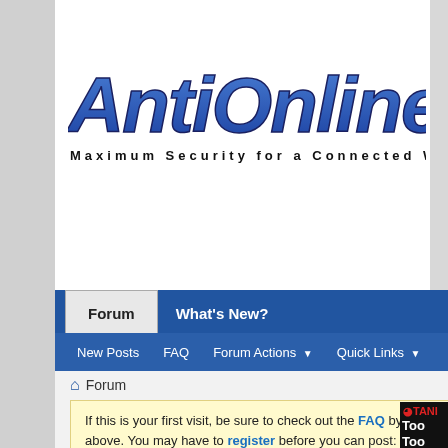[Figure (logo): AntiOnline logo — stylized blue 3D block text reading 'AntiOnline' with subtitle 'Maximum Security for a Connected World']
Forum | What's New?
New Posts  FAQ  Forum Actions ▼  Quick Links ▼
🏠 Forum
If this is your first visit, be sure to check out the FAQ by clicking the link above. You may have to register before you can post: click the register link above to proceed. To start viewing messages, select the forum that you want to visit from the selection below.
[Figure (screenshot): Partial advertisement banner showing 'TANI' logo and 'Too' text on black background]